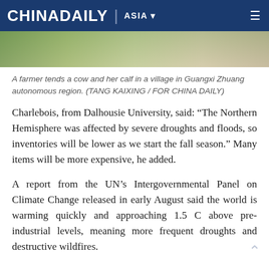CHINA DAILY | ASIA
[Figure (photo): Partial photo of a farmer tending a cow and calf in a village in Guangxi Zhuang autonomous region]
A farmer tends a cow and her calf in a village in Guangxi Zhuang autonomous region. (TANG KAIXING / FOR CHINA DAILY)
Charlebois, from Dalhousie University, said: “The Northern Hemisphere was affected by severe droughts and floods, so inventories will be lower as we start the fall season.” Many items will be more expensive, he added.
A report from the UN’s Intergovernmental Panel on Climate Change released in early August said the world is warming quickly and approaching 1.5 C above pre-industrial levels, meaning more frequent droughts and destructive wildfires.